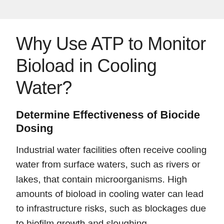Why Use ATP to Monitor Bioload in Cooling Water?
Determine Effectiveness of Biocide Dosing
Industrial water facilities often receive cooling water from surface waters, such as rivers or lakes, that contain microorganisms. High amounts of bioload in cooling water can lead to infrastructure risks, such as blockages due to biofilm growth and sloughing, microbiologically